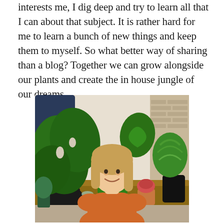interests me, I dig deep and try to learn all that I can about that subject. It is rather hard for me to learn a bunch of new things and keep them to myself. So what better way of sharing than a blog? Together we can grow alongside our plants and create the in house jungle of our dreams.
[Figure (photo): A young woman with long blonde hair wearing an orange t-shirt, smiling and sitting among many houseplants including large monstera leaves, spider plants, and various potted plants on a wooden shelf/table, in a home setting.]